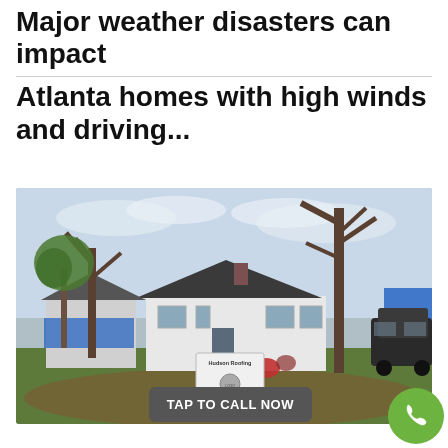Major weather disasters can impact Atlanta homes with high winds and driving...
[Figure (photo): A white ranch-style house with storm-damaged trees around it. A Hudson Roofing yard sign is placed in the front yard. Blue tarps visible on neighboring structure. A dark SUV parked to the right.]
TAP TO CALL NOW